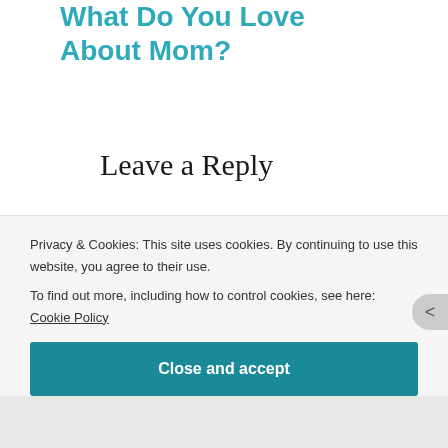What Do You Love About Mom?
Leave a Reply
Your email address will not be published. Required fields are marked *
Comment *
Privacy & Cookies: This site uses cookies. By continuing to use this website, you agree to their use.
To find out more, including how to control cookies, see here: Cookie Policy
Close and accept